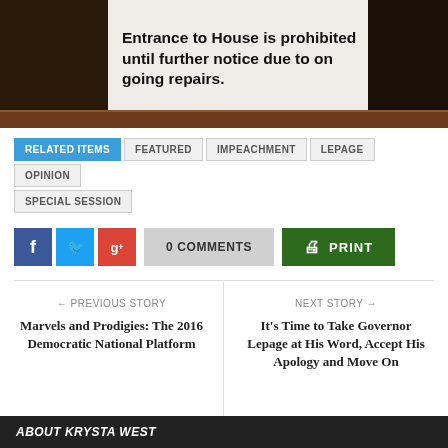[Figure (photo): Indoor photo showing a sign on a counter or desk that reads 'Entrance to House is prohibited until further notice due to on going repairs.' Dark wooden surroundings.]
Entrance to House is prohibited until further notice due to on going repairs.
RELATED ITEMS
FEATURED
IMPEACHMENT
LEPAGE
OPINION
SPECIAL SESSION
0 COMMENTS
PRINT
← PREVIOUS STORY
Marvels and Prodigies: The 2016 Democratic National Platform
NEXT STORY →
It's Time to Take Governor Lepage at His Word, Accept His Apology and Move On
ABOUT KRYSTA WEST